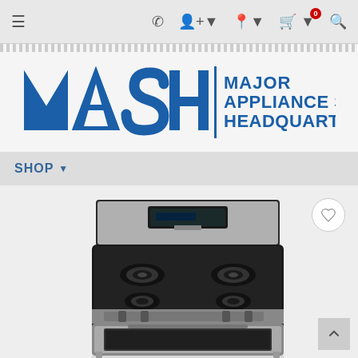Navigation bar with menu, phone, account, location, cart (0), and search icons
[Figure (logo): MASH - Major Appliance Service Headquarters logo in bold blue text]
SHOP
[Figure (photo): Whirlpool stainless steel and black gas range/stove with 4 burners, digital control panel, and oven window, shown on white background]